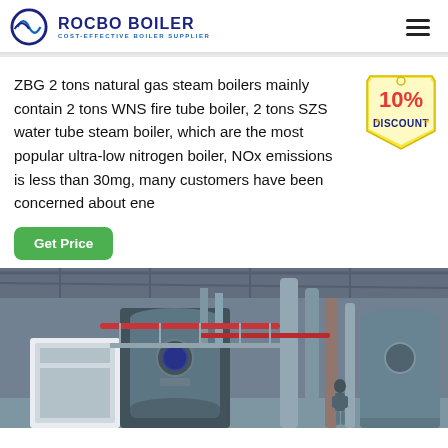[Figure (logo): ROCBO BOILER logo with tagline COST-EFFECTIVE BOILER SUPPLIER and circular icon]
ZBG 2 tons natural gas steam boilers mainly contain 2 tons WNS fire tube boiler, 2 tons SZS water tube steam boiler, which are the most popular ultra-low nitrogen boiler, NOx emissions is less than 30mg, many customers have been concerned about ene
[Figure (infographic): 10% DISCOUNT badge/sticker in red and gold]
Get Price
[Figure (photo): Industrial boiler facility interior showing large industrial boilers, pipes, and equipment in a factory setting with a worker visible]